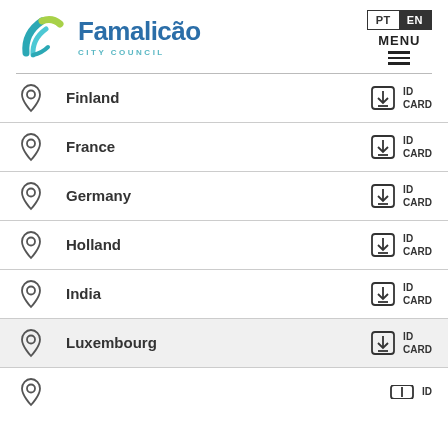[Figure (logo): Famalicão City Council logo with arc design in teal/green and blue text]
PT EN | MENU
Finland - ID CARD
France - ID CARD
Germany - ID CARD
Holland - ID CARD
India - ID CARD
Luxembourg - ID CARD